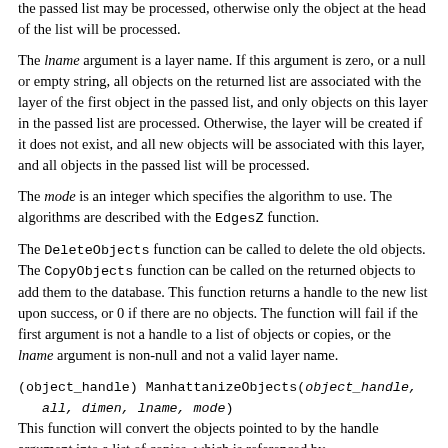the passed list may be processed, otherwise only the object at the head of the list will be processed.
The lname argument is a layer name. If this argument is zero, or a null or empty string, all objects on the returned list are associated with the layer of the first object in the passed list, and only objects on this layer in the passed list are processed. Otherwise, the layer will be created if it does not exist, and all new objects will be associated with this layer, and all objects in the passed list will be processed.
The mode is an integer which specifies the algorithm to use. The algorithms are described with the EdgesZ function.
The DeleteObjects function can be called to delete the old objects. The CopyObjects function can be called on the returned objects to add them to the database. This function returns a handle to the new list upon success, or 0 if there are no objects. The function will fail if the first argument is not a handle to a list of objects or copies, or the lname argument is non-null and not a valid layer name.
(object_handle) ManhattanizeObjects(object_handle, all, dimen, lname, mode)
This function will convert the objects pointed to by the handle argument into a list of copies, which is referenced by